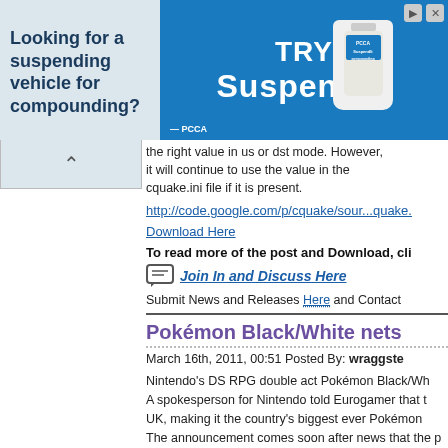[Figure (screenshot): Advertisement banner for SuspendIt compounding vehicle product by PCCA]
the right value in us or dst mode. However, it will continue to use the value in the cquake.ini file if it is present.
http://code.google.com/p/cquake/sour...quake.
Download Here
To read more of the post and Download, cli
Join In and Discuss Here
Submit News and Releases Here and Contact
Pokémon Black/White nets
March 16th, 2011, 00:51 Posted By: wraggste
Nintendo's DS RPG double act Pokémon Black/Wh A spokesperson for Nintendo told Eurogamer that t UK, making it the country's biggest ever Pokémon The announcement comes soon after news that the soaring past the five million mark six months after Eurogamer's Keza MacDonald slapped a 9/10 on th mind-blowingly huge, and for the first time, it's bea http://www.eurogamer.net/articles/20...-1m-euro-sa